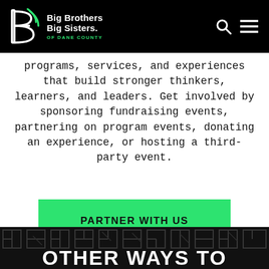Big Brothers Big Sisters OF DANE COUNTY
programs, services, and experiences that build stronger thinkers, learners, and leaders. Get involved by sponsoring fundraising events, partnering on program events, donating an experience, or hosting a third-party event.
PARTNER WITH US
OTHER WAYS TO